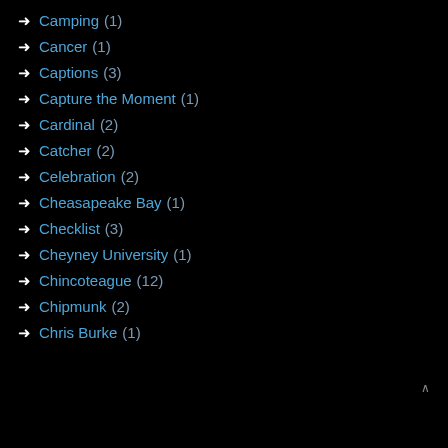Camping (1)
Cancer (1)
Captions (3)
Capture the Moment (1)
Cardinal (2)
Catcher (2)
Celebration (2)
Cheasapeake Bay (1)
Checklist (3)
Cheyney University (1)
Chincoteague (12)
Chipmunk (2)
Chris Burke (1)